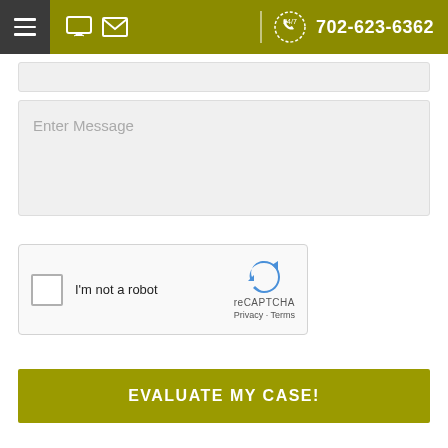702-623-6362
Enter Message
[Figure (screenshot): reCAPTCHA widget with checkbox labeled I'm not a robot, reCAPTCHA logo, Privacy and Terms links]
EVALUATE MY CASE!